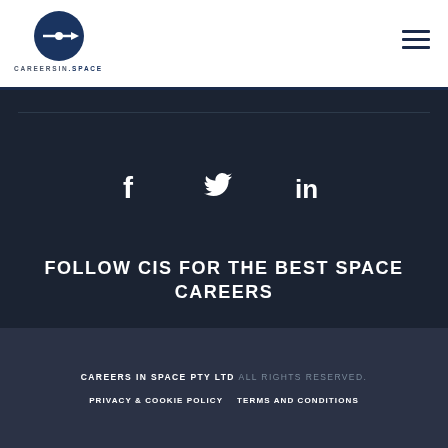CAREERS IN SPACE
[Figure (logo): Careers In Space circular logo with dark blue circle and horizontal line/arrow graphic, with text CAREERSIN.SPACE below]
[Figure (illustration): Hamburger menu icon with three horizontal bars]
[Figure (illustration): Social media icons: Facebook (f), Twitter (bird), LinkedIn (in)]
FOLLOW CIS FOR THE BEST SPACE CAREERS
CAREERS IN SPACE PTY LTD ALL RIGHTS RESERVED.
PRIVACY & COOKIE POLICY   TERMS AND CONDITIONS